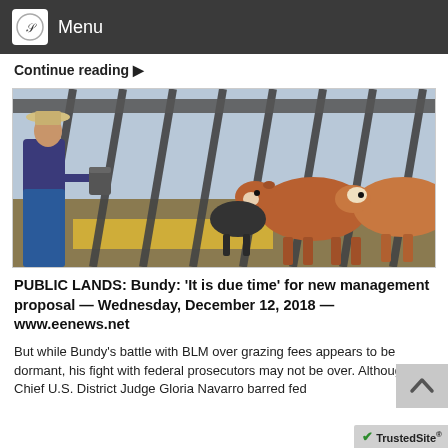Menu
Continue reading ▶
[Figure (photo): A rancher wearing a cowboy hat pours feed through metal corral bars toward brown and black cattle on a ranch.]
PUBLIC LANDS: Bundy: 'It is due time' for new management proposal — Wednesday, December 12, 2018 — www.eenews.net
But while Bundy's battle with BLM over grazing fees appears to be dormant, his fight with federal prosecutors may not be over. Although Chief U.S. District Judge Gloria Navarro barred fed